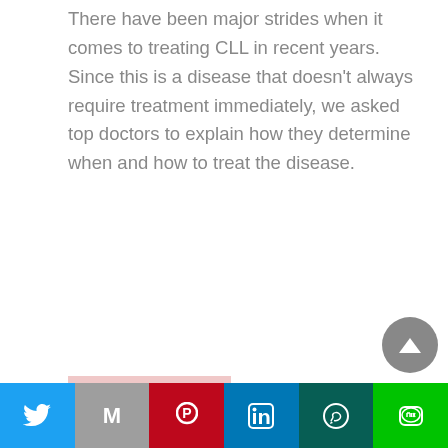There have been major strides when it comes to treating CLL in recent years. Since this is a disease that doesn't always require treatment immediately, we asked top doctors to explain how they determine when and how to treat the disease.
[Figure (illustration): Medical illustration showing a side profile of a human head/neck with colorful abstract shapes representing lymph nodes or cancer cells — blue, tan/olive, pink background with red and pink dots scattered across.]
What is Richter's Transformation and How is it Treated?
[Figure (illustration): Medical illustration showing a side profile of a human head with concentric organic shapes inside representing a tumor — rendered in tan, olive, brown, blue tones with a red heart shape at the center.]
What is Tumor Lysis Syndrome?
Twitter | Gmail | Pinterest | LinkedIn | WhatsApp | LINE